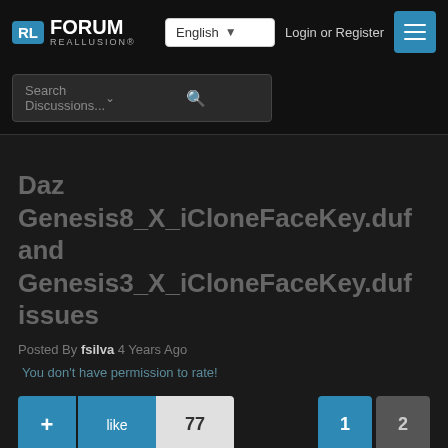RL FORUM REALLUSION — English — Login or Register
Search Discussions...
Daz Genesis8_X_iCloneFaceKey.duf and Genesis3_X_iCloneFaceKey.duf issues
Posted By fsilva 4 Years Ago
You don't have permission to rate!
+ like 77 | Page 1 2
Daz Genesis8_X_iCloneFaceKey.duf and